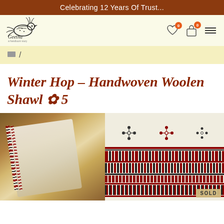Celebrating 12 Years Of Trust...
[Figure (logo): Geetha brand logo with stylized bird illustration and text 'Geetha']
□ /
Winter Hop – Handwoven Woolen Shawl ✿ 5
[Figure (photo): Two product photos of a handwoven woolen shawl with red and black stripe border patterns on cream background. Left image shows folded shawl on brown surface. Right image shows flat lay detail of border embroidery with geometric patterns. SOLD badge visible on right image.]